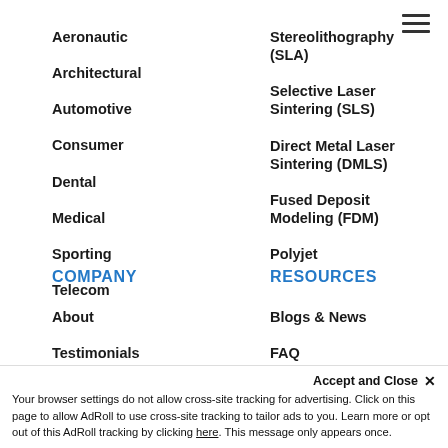Aeronautic
Architectural
Automotive
Consumer
Dental
Medical
Sporting
Telecom
Stereolithography (SLA)
Selective Laser Sintering (SLS)
Direct Metal Laser Sintering (DMLS)
Fused Deposit Modeling (FDM)
Polyjet
COMPANY
RESOURCES
About
Testimonials
Contact
Blogs & News
FAQ
Accept and Close ✕
Your browser settings do not allow cross-site tracking for advertising. Click on this page to allow AdRoll to use cross-site tracking to tailor ads to you. Learn more or opt out of this AdRoll tracking by clicking here. This message only appears once.